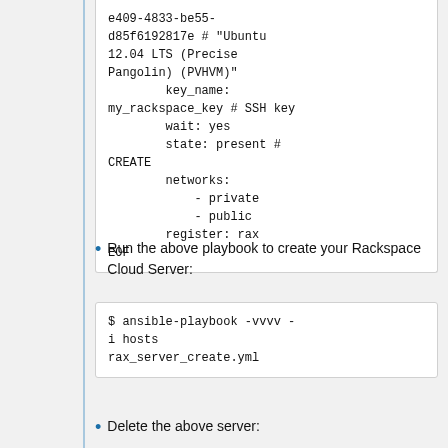e409-4833-be55-d85f6192817e # "Ubuntu 12.04 LTS (Precise Pangolin) (PVHVM)"
        key_name: my_rackspace_key # SSH key
        wait: yes
        state: present # CREATE
        networks:
            - private
            - public
        register: rax
EOF
Run the above playbook to create your Rackspace Cloud Server:
$ ansible-playbook -vvvv -i hosts rax_server_create.yml
Delete the above server: